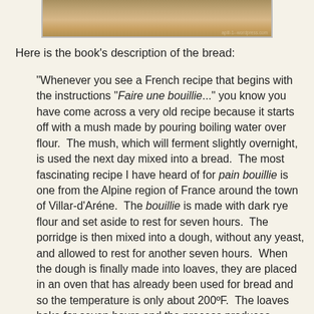[Figure (photo): Partial view of a bread photograph, showing a close-up of a rustic loaf with a golden-brown crust, cropped at the top of the page.]
Here is the book's description of the bread:
"Whenever you see a French recipe that begins with the instructions "Faire une bouillie..." you know you have come across a very old recipe because it starts off with a mush made by pouring boiling water over flour.  The mush, which will ferment slightly overnight, is used the next day mixed into a bread.  The most fascinating recipe I have heard of for pain bouillie is one from the Alpine region of France around the town of Villar-d'Aréne.  The bouillie is made with dark rye flour and set aside to rest for seven hours.  The porridge is then mixed into a dough, without any yeast, and allowed to rest for another seven hours.  When the dough is finally made into loaves, they are placed in an oven that has already been used for bread and so the temperature is only about 200ºF.  The loaves bake for seven hours and the process produces